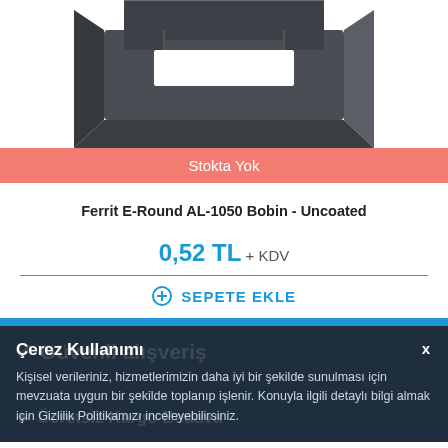[Figure (photo): Product photo of a dark grey/charcoal E-core ferrite bobin component, shown at an angle from above, partially cropped at the top.]
Stokta Yok
Ferrit E-Round AL-1050 Bobin - Uncoated
0,52 TL + KDV
+ SEPETE EKLE
Çerez Kullanımı
Kişisel verileriniz, hizmetlerimizin daha iyi bir şekilde sunulması için mevzuata uygun bir şekilde toplanıp işlenir. Konuyla ilgili detaylı bilgi almak için Gizlilik Politikamızı inceleyebilirsiniz.